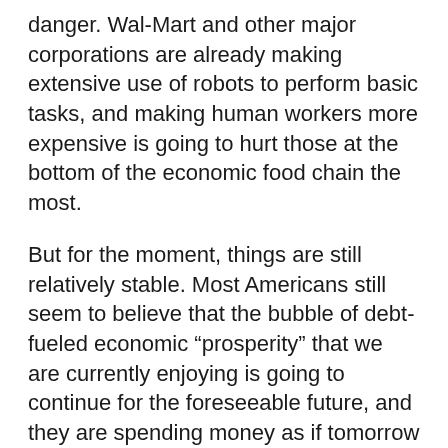danger.  Wal-Mart and other major corporations are already making extensive use of robots to perform basic tasks, and making human workers more expensive is going to hurt those at the bottom of the economic food chain the most.
But for the moment, things are still relatively stable.  Most Americans still seem to believe that the bubble of debt-fueled economic “prosperity” that we are currently enjoying is going to continue for the foreseeable future, and they are spending money as if tomorrow will never come.
According to Zero Hedge, U.S. consumer credit has now surged past the 4 trillion dollar mark...